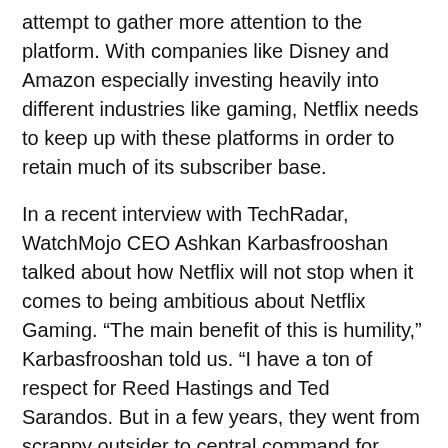attempt to gather more attention to the platform. With companies like Disney and Amazon especially investing heavily into different industries like gaming, Netflix needs to keep up with these platforms in order to retain much of its subscriber base.
In a recent interview with TechRadar, WatchMojo CEO Ashkan Karbasfrooshan talked about how Netflix will not stop when it comes to being ambitious about Netflix Gaming. “The main benefit of this is humility,” Karbasfrooshan told us. “I have a ton of respect for Reed Hastings and Ted Sarandos. But in a few years, they went from scrappy outsider to central command for hubris in Hollywood. Snap Inc. [the company behind Snapchat] used to be a cocky place, then when Facebook copied its product, founder Evan Spiegel